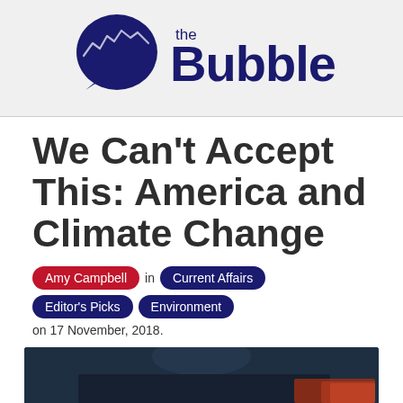[Figure (logo): The Bubble logo — dark navy speech bubble icon with a line chart inside, followed by 'the Bubble' text in dark navy]
We Can't Accept This: America and Climate Change
Amy Campbell in Current Affairs Editor's Picks Environment on 17 November, 2018.
[Figure (photo): Partial view of a person's face, dark background, bottom of page]